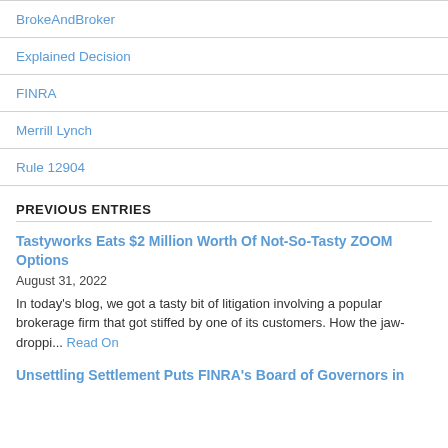BrokeAndBroker
Explained Decision
FINRA
Merrill Lynch
Rule 12904
PREVIOUS ENTRIES
Tastyworks Eats $2 Million Worth Of Not-So-Tasty ZOOM Options
August 31, 2022
In today's blog, we got a tasty bit of litigation involving a popular brokerage firm that got stiffed by one of its customers. How the jaw-droppi... Read On
Unsettling Settlement Puts FINRA's Board of Governors in